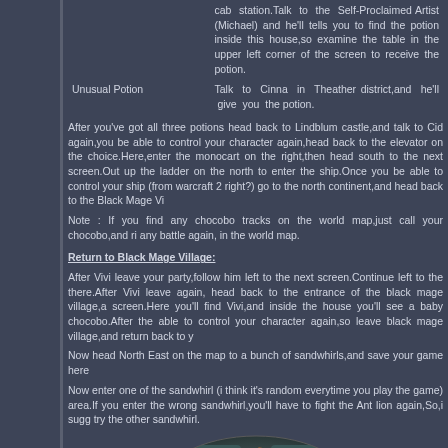| Item | Description |
| --- | --- |
|  | cab station.Talk to the Self-Proclaimed Artist (Michael) and he'll tells you to find the potion inside this house,so examine the table in the upper left corner of the screen to receive the potion. |
| Unusual Potion | Talk to Cinna in Theather district,and he'll give you the potion. |
After you've got all three potions head back to Lindblum castle,and talk to Cid again,you be able to control your character again,head back to the elevator on the choice.Here,enter the monocart on the right,then head south to the next screen.Out up the ladder on the north to enter the ship.Once you be able to control your ship (from warcraft 2 right?) go to the north continent,and head back to the Black Mage Vi
Note : If you find any chocobo tracks on the world map,just call your chocobo,and ri any battle again, in the world map.
Return to Black Mage Village:
After Vivi leave your party,follow him left to the next screen.Continue left to the there.After Vivi leave again, head back to the entrance of the black mage village,a screen.Here you'll find Vivi,and inside the house you'll see a baby chocobo.After the able to control your character again,so leave black mage village,and return back to y
Now head North East on the map to a bunch of sandwhirls,and save your game here
Now enter one of the sandwhirl (i think it's random everytime you play the game) area.If you enter the wrong sandwhirl,you'll have to fight the Ant lion again,So,i sugg try the other sandwhirl.
[Figure (photo): A circular game scene image showing an ornate wheel or mechanism with orange and teal colors]